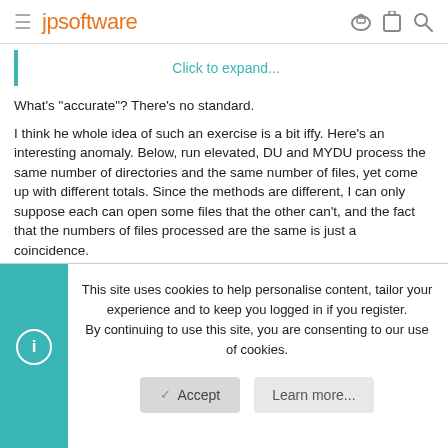jpsoftware
Click to expand...
What's "accurate"? There's no standard.
I think he whole idea of such an exercise is a bit iffy. Here's an interesting anomaly. Below, run elevated, DU and MYDU process the same number of directories and the same number of files, yet come up with different totals. Since the methods are different, I can only suppose each can open some files that the other can't, and the fact that the numbers of files processed are the same is just a coincidence.
This site uses cookies to help personalise content, tailor your experience and to keep you logged in if you register.
By continuing to use this site, you are consenting to our use of cookies.